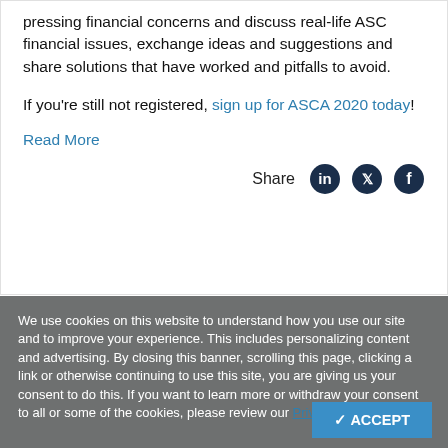pressing financial concerns and discuss real-life ASC financial issues, exchange ideas and suggestions and share solutions that have worked and pitfalls to avoid.
If you're still not registered, sign up for ASCA 2020 today!
Read More
[Figure (other): Share row with LinkedIn, Twitter, and Facebook social media icons]
We use cookies on this website to understand how you use our site and to improve your experience. This includes personalizing content and advertising. By closing this banner, scrolling this page, clicking a link or otherwise continuing to use this site, you are giving us your consent to do this. If you want to learn more or withdraw your consent to all or some of the cookies, please review our Privacy Policy